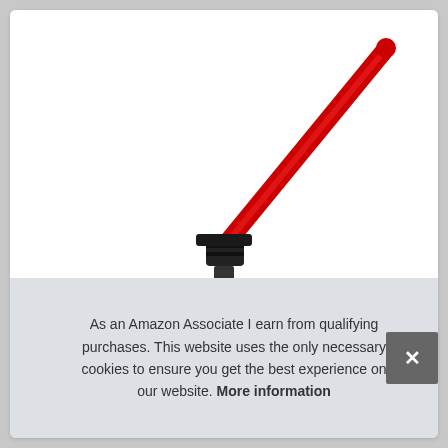[Figure (photo): A red lightsaber toy with a black handle/hilt, angled diagonally from lower center to upper right, on a white background. The black cylindrical handle is visible at the bottom center. At the very bottom edge, dark blade extensions protrude.]
As an Amazon Associate I earn from qualifying purchases. This website uses the only necessary cookies to ensure you get the best experience on our website. More information